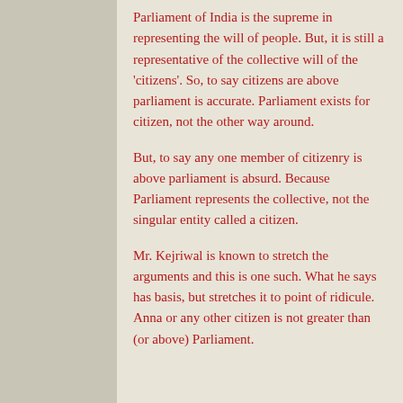Parliament of India is the supreme in representing the will of people. But, it is still a representative of the collective will of the 'citizens'. So, to say citizens are above parliament is accurate. Parliament exists for citizen, not the other way around.
But, to say any one member of citizenry is above parliament is absurd. Because Parliament represents the collective, not the singular entity called a citizen.
Mr. Kejriwal is known to stretch the arguments and this is one such. What he says has basis, but stretches it to point of ridicule. Anna or any other citizen is not greater than (or above) Parliament.